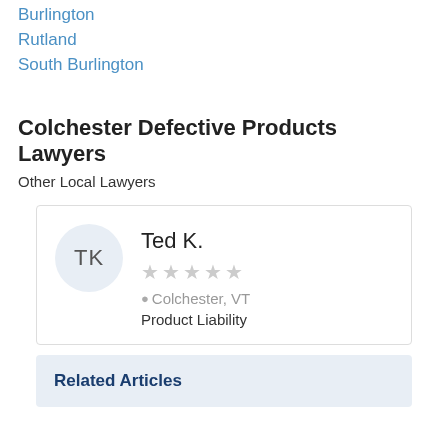Burlington
Rutland
South Burlington
Colchester Defective Products Lawyers
Other Local Lawyers
[Figure (other): Lawyer profile card for Ted K. showing avatar initials TK, 5 empty stars rating, location Colchester VT, and practice area Product Liability]
Related Articles